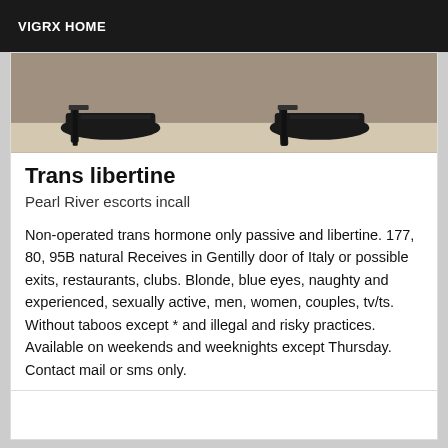VIGRX HOME
[Figure (photo): Photo of a person's feet wearing high-heeled stiletto sandals, viewed from ankle down on a light-colored surface]
Trans libertine
Pearl River escorts incall
Non-operated trans hormone only passive and libertine. 177, 80, 95B natural Receives in Gentilly door of Italy or possible exits, restaurants, clubs. Blonde, blue eyes, naughty and experienced, sexually active, men, women, couples, tv/ts. Without taboos except * and illegal and risky practices. Available on weekends and weeknights except Thursday. Contact mail or sms only.